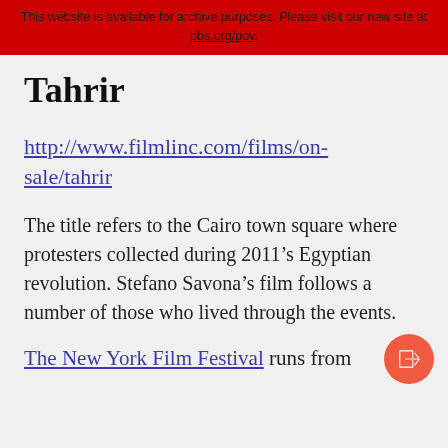This website is available for archive purposes. Please visit our new site at pbs.org/pov.
Tahrir
http://www.filmlinc.com/films/on-sale/tahrir
The title refers to the Cairo town square where protesters collected during 2011’s Egyptian revolution. Stefano Savona’s film follows a number of those who lived through the events.
The New York Film Festival runs from